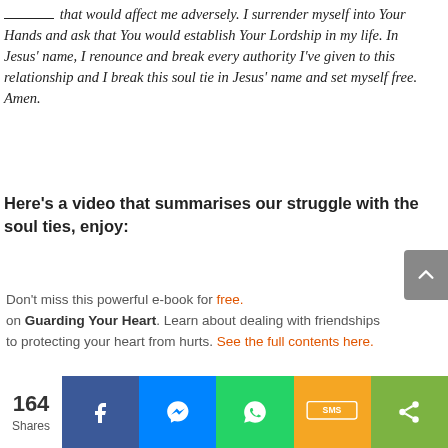_____ that would affect me adversely. I surrender myself into Your Hands and ask that You would establish Your Lordship in my life. In Jesus' name, I renounce and break every authority I've given to this relationship and I break this soul tie in Jesus' name and set myself free. Amen.
Here's a video that summarises our struggle with the soul ties, enjoy:
Don't miss this powerful e-book for free. on Guarding Your Heart. Learn about dealing with friendships to protecting your heart from hurts. See the full contents here.
[Figure (infographic): Social share bar with 164 Shares count and buttons for Facebook, Messenger, WhatsApp, SMS, and general share]